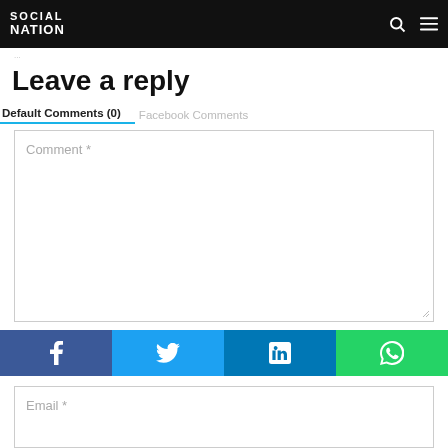Social Nation
Leave a reply
Default Comments (0)   Facebook Comments
Comment *
[Figure (infographic): Social share bar with Facebook, Twitter, LinkedIn, and WhatsApp icons]
Email *